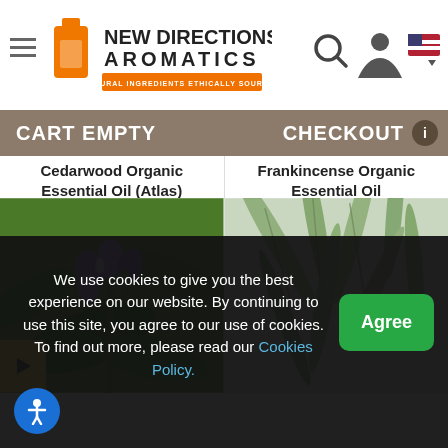[Figure (screenshot): New Directions Aromatics website header with logo, hamburger menu, search icon, user icon, and US flag]
CART EMPTY
CHECKOUT
Cedarwood Organic Essential Oil (Atlas)
Frankincense Organic Essential Oil
[Figure (photo): Purple and blue small flowers with green leaves — sage or similar herb plant]
[Figure (photo): Green eucalyptus or similar long narrow leaves close-up]
We use cookies to give you the best experience on our website. By continuing to use this site, you agree to our use of cookies. To find out more, please read our Cookies Policy.